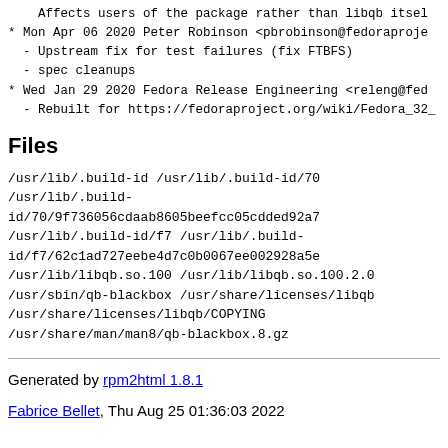Affects users of the package rather than libqb itself
* Mon Apr 06 2020 Peter Robinson <pbrobinson@fedoraproje...
  - Upstream fix for test failures (fix FTBFS)
  - spec cleanups
* Wed Jan 29 2020 Fedora Release Engineering <releng@fedo...
  - Rebuilt for https://fedoraproject.org/wiki/Fedora_32_
Files
/usr/lib/.build-id
/usr/lib/.build-id/70
/usr/lib/.build-id/70/9f736056cdaab8605beefcc05cdded92a76...
/usr/lib/.build-id/f7
/usr/lib/.build-id/f7/62c1ad727eebe4d7c0b0067ee002928a5e1...
/usr/lib/libqb.so.100
/usr/lib/libqb.so.100.2.0
/usr/sbin/qb-blackbox
/usr/share/licenses/libqb
/usr/share/licenses/libqb/COPYING
/usr/share/man/man8/qb-blackbox.8.gz
Generated by rpm2html 1.8.1
Fabrice Bellet, Thu Aug 25 01:36:03 2022